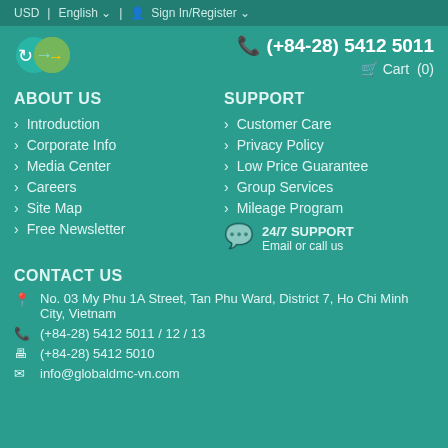USD | English ▾ | Sign In/Register ▾
[Figure (logo): GlobalDMC circular arrow logo in teal and yellow]
(+84-28) 5412 5011
Cart (0)
ABOUT US
Introduction
Corporate Info
Media Center
Careers
Site Map
Free Newsletter
SUPPORT
Customer Care
Privacy Policy
Low Price Guarantee
Group Services
Mileage Program
24/7 SUPPORT
Email or call us
CONTACT US
No. 03 My Phu 1A Street, Tan Phu Ward, District 7, Ho Chi Minh City, Vietnam
(+84-28) 5412 5011 / 12 / 13
(+84-28) 5412 5010
info@globaldmc-vn.com